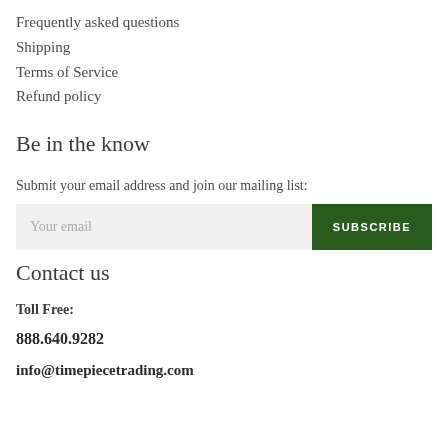Frequently asked questions
Shipping
Terms of Service
Refund policy
Be in the know
Submit your email address and join our mailing list:
Your email  SUBSCRIBE
Contact us
Toll Free:
888.640.9282
info@timepiecetrading.com